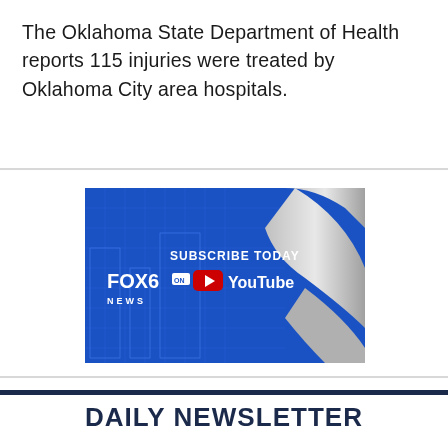The Oklahoma State Department of Health reports 115 injuries were treated by Oklahoma City area hospitals.
[Figure (screenshot): FOX6 News YouTube subscription promotional image. Blue background with blueprint graphics on left and silver curved design on right. Text reads: SUBSCRIBE TODAY FOX6 ON NEWS with YouTube logo and play button.]
DAILY NEWSLETTER